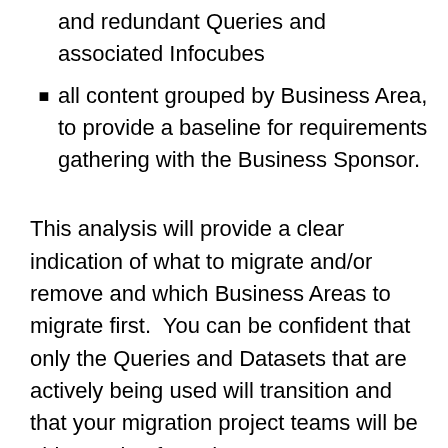and redundant Queries and associated Infocubes
all content grouped by Business Area, to provide a baseline for requirements gathering with the Business Sponsor.
This analysis will provide a clear indication of what to migrate and/or remove and which Business Areas to migrate first.  You can be confident that only the Queries and Datasets that are actively being used will transition and that your migration project teams will be able starting from the same comprehensive baseline level of knowledge of the existing platform